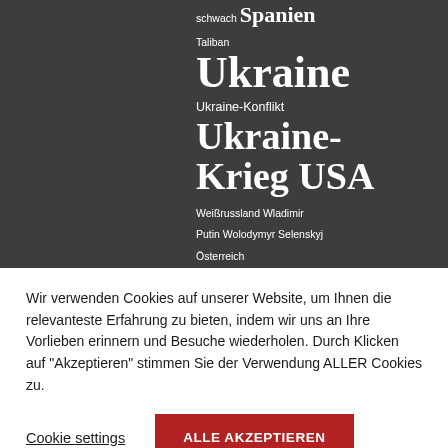schwach Spanien Taliban Ukraine Ukraine-Konflikt Ukraine-Krieg USA Weißrussland Wladimir Putin Wolodymyr Selenskyj Österreich
Wir verwenden Cookies auf unserer Website, um Ihnen die relevanteste Erfahrung zu bieten, indem wir uns an Ihre Vorlieben erinnern und Besuche wiederholen. Durch Klicken auf "Akzeptieren" stimmen Sie der Verwendung ALLER Cookies zu.
Cookie settings
ALLE AKZEPTIEREN